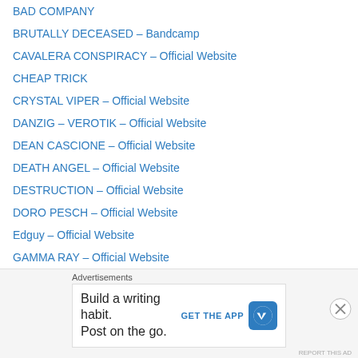BAD COMPANY
BRUTALLY DECEASED – Bandcamp
CAVALERA CONSPIRACY – Official Website
CHEAP TRICK
CRYSTAL VIPER – Official Website
DANZIG – VEROTIK – Official Website
DEAN CASCIONE – Official Website
DEATH ANGEL – Official Website
DESTRUCTION – Official Website
DORO PESCH – Official Website
Edguy – Official Website
GAMMA RAY – Official Website
Gene Hoglan – Hoglan Industries.com
Great White – Official Website
HATEBREED – Official Website
HELLOWEEN – Official Website
HEMOPTYSIS – Official Website
Advertisements
Build a writing habit. Post on the go. GET THE APP